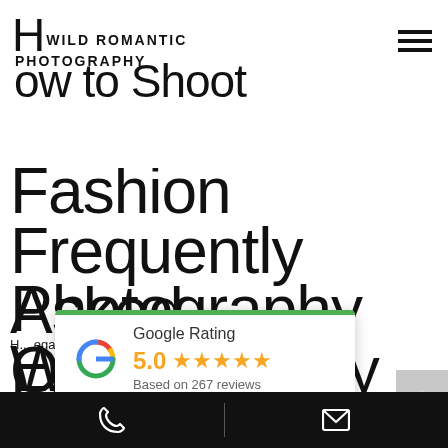How To Shoot / Wild Romantic Photography
Fashion Photography With Male Models?
Frequently Asked Questions By Fashion Photographers
[Figure (other): Google Rating card with Google G logo, score 5.0, five orange stars, Based on 267 reviews]
H... egarding how to pose m...
Wh... f...
Phone icon | Mail icon